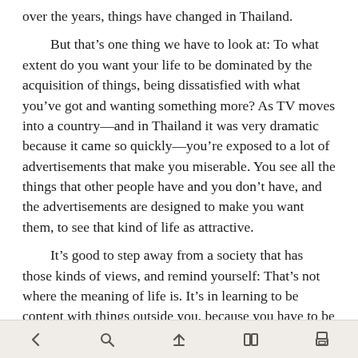over the years, things have changed in Thailand.
But that’s one thing we have to look at: To what extent do you want your life to be dominated by the acquisition of things, being dissatisfied with what you’ve got and wanting something more? As TV moves into a country—and in Thailand it was very dramatic because it came so quickly—you’re exposed to a lot of advertisements that make you miserable. You see all the things that other people have and you don’t have, and the advertisements are designed to make you want them, to see that kind of life as attractive.
It’s good to step away from a society that has those kinds of views, and remind yourself: That’s not where the meaning of life is. It’s in learning to be content with things outside you, because you have to be persistent in another way.
The persistence here is persistence in developing the mind, working on the qualities of the mind. Domestic society goes along with that to some extent, but when we start talking about abandoning sensuality, abandoning our
< [search] [bookmark] [library] [print]